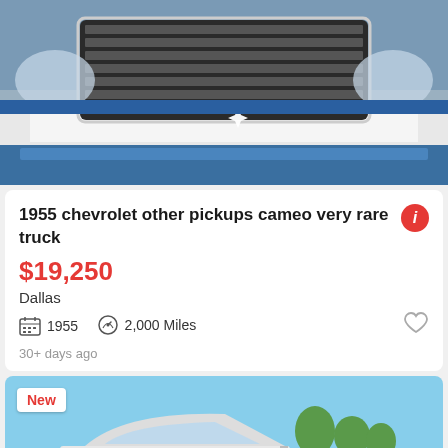[Figure (photo): Front view of a 1955 Chevrolet pickup truck, blue and chrome, showing grille and front bumper]
1955 chevrolet other pickups cameo very rare truck
$19,250
Dallas
1955   2,000 Miles
30+ days ago
[Figure (photo): Side view of a white/silver 1955 Chevrolet pickup truck with custom wheels, outdoors on a sunny day, 'New' badge visible, 'See photo' button overlay]